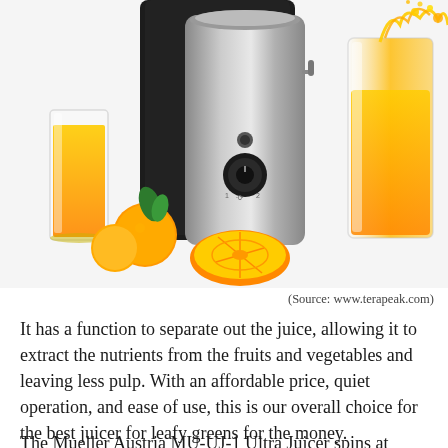[Figure (photo): A stainless steel juicer (Mueller Austria MU-UJ-1 Ultra Juicer) in the center, with a glass of orange juice on the left, whole and halved oranges in the foreground, and a pitcher/container being filled with orange juice on the right. White background.]
(Source: www.terapeak.com)
It has a function to separate out the juice, allowing it to extract the nutrients from the fruits and vegetables and leaving less pulp. With an affordable price, quiet operation, and ease of use, this is our overall choice for the best juicer for leafy greens for the money.
The Mueller Austria MU-UJ-1 Ultra Juicer spins at